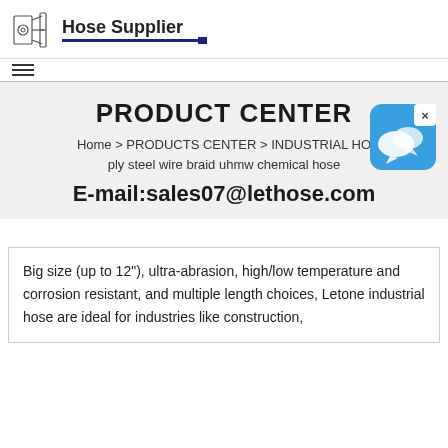Hose Supplier
PRODUCT CENTER
Home > PRODUCTS CENTER > INDUSTRIAL HO... ply steel wire braid uhmw chemical hose
E-mail:sales07@lethose.com
[Figure (illustration): Chat widget / customer support popup icon with speech bubble on blue rounded square background with X close button]
Big size (up to 12"), ultra-abrasion, high/low temperature and corrosion resistant, and multiple length choices, Letone industrial hose are ideal for industries like construction,